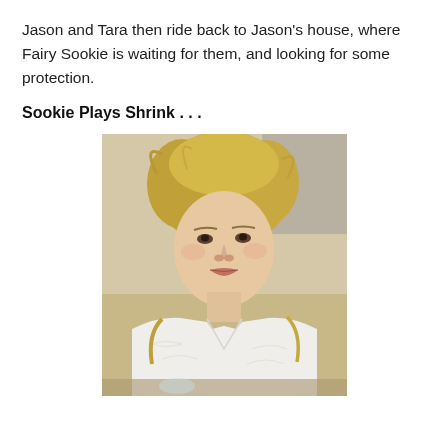Jason and Tara then ride back to Jason’s house, where Fairy Sookie is waiting for them, and looking for some protection.
Sookie Plays Shrink . . .
[Figure (photo): A blonde woman wearing a white lace/crochet top, looking intently at something off-camera, seated at what appears to be a table in an indoor setting.]